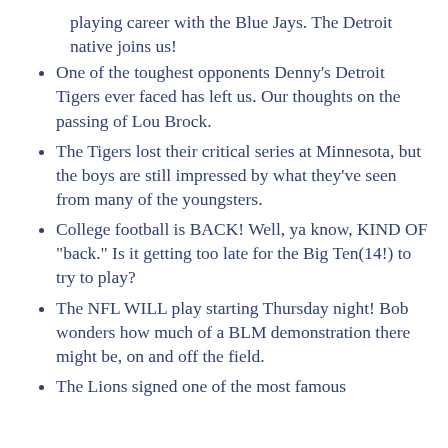playing career with the Blue Jays. The Detroit native joins us!
One of the toughest opponents Denny’s Detroit Tigers ever faced has left us. Our thoughts on the passing of Lou Brock.
The Tigers lost their critical series at Minnesota, but the boys are still impressed by what they’ve seen from many of the youngsters.
College football is BACK! Well, ya know, KIND OF “back.” Is it getting too late for the Big Ten(14!) to try to play?
The NFL WILL play starting Thursday night! Bob wonders how much of a BLM demonstration there might be, on and off the field.
The Lions signed one of the most famous